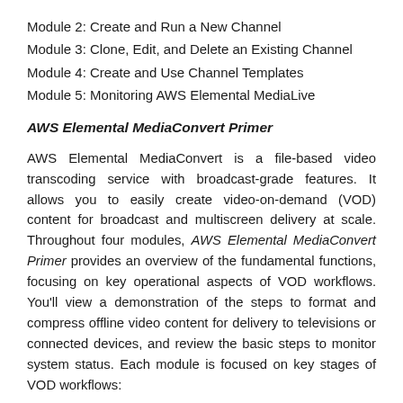Module 2: Create and Run a New Channel
Module 3: Clone, Edit, and Delete an Existing Channel
Module 4: Create and Use Channel Templates
Module 5: Monitoring AWS Elemental MediaLive
AWS Elemental MediaConvert Primer
AWS Elemental MediaConvert is a file-based video transcoding service with broadcast-grade features. It allows you to easily create video-on-demand (VOD) content for broadcast and multiscreen delivery at scale. Throughout four modules, AWS Elemental MediaConvert Primer provides an overview of the fundamental functions, focusing on key operational aspects of VOD workflows. You’ll view a demonstration of the steps to format and compress offline video content for delivery to televisions or connected devices, and review the basic steps to monitor system status. Each module is focused on key stages of VOD workflows:
Module 1: Building Blocks and Workflow of a VOD Streaming Event
Module 2: Create and Run a New Job